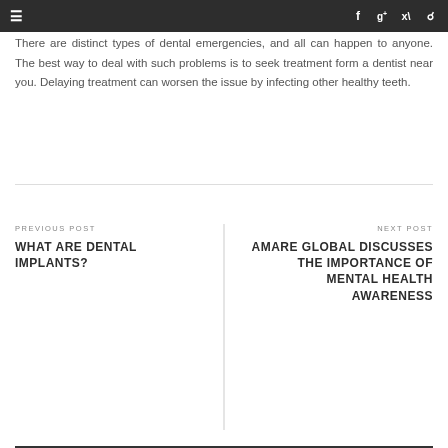≡  f  g+  🐦  🔍
There are distinct types of dental emergencies, and all can happen to anyone. The best way to deal with such problems is to seek treatment form a dentist near you. Delaying treatment can worsen the issue by infecting other healthy teeth.
PREVIOUS POST
WHAT ARE DENTAL IMPLANTS?
NEXT POST
AMARE GLOBAL DISCUSSES THE IMPORTANCE OF MENTAL HEALTH AWARENESS